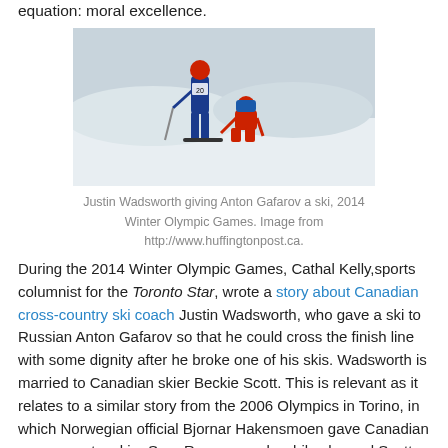equation: moral excellence.
[Figure (photo): Justin Wadsworth giving Anton Gafarov a ski at the 2014 Winter Olympic Games. A skier wearing bib number 20 stands while a person in red kneels to fix the ski.]
Justin Wadsworth giving Anton Gafarov a ski, 2014 Winter Olympic Games. Image from http://www.huffingtonpost.ca.
During the 2014 Winter Olympic Games, Cathal Kelly,sports columnist for the Toronto Star, wrote a story about Canadian cross-country ski coach Justin Wadsworth, who gave a ski to Russian Anton Gafarov so that he could cross the finish line with some dignity after he broke one of his skis. Wadsworth is married to Canadian skier Beckie Scott. This is relevant as it relates to a similar story from the 2006 Olympics in Torino, in which Norwegian official Bjornar Hakensmoen gave Canadian cross-country skier Sara Renner a pole while she and Scott were racing in the team sprint. That action helped the Canadian pair place second, pushing the Norwegians into fourth. Hakensmoen